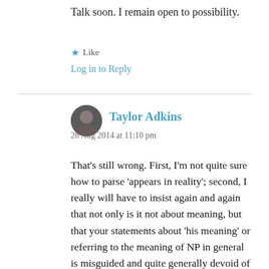Talk soon. I remain open to possibility.
★ Like
Log in to Reply
Taylor Adkins
28 Aug 2014 at 11:10 pm
That's still wrong. First, I'm not quite sure how to parse 'appears in reality'; second, I really will have to insist again and again that not only is it not about meaning, but that your statements about 'his meaning' or referring to the meaning of NP in general is misguided and quite generally devoid of signification without an understanding of the transcendental status of